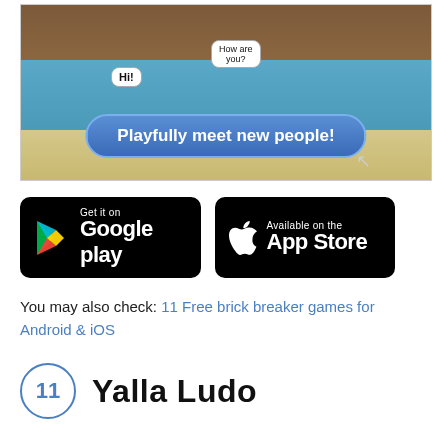[Figure (screenshot): Mobile game screenshot showing a beach scene with characters and a dialog bubble saying 'Playfully meet new people!']
[Figure (screenshot): Google Play store download button]
[Figure (screenshot): Apple App Store download button]
You may also check: 11 Free brick breaker games for Android & iOS
11 Yalla Ludo